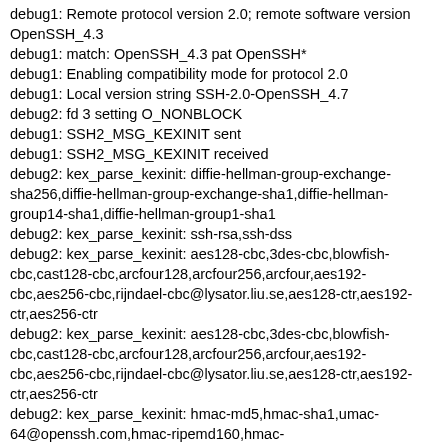debug1: Remote protocol version 2.0; remote software version OpenSSH_4.3
debug1: match: OpenSSH_4.3 pat OpenSSH*
debug1: Enabling compatibility mode for protocol 2.0
debug1: Local version string SSH-2.0-OpenSSH_4.7
debug2: fd 3 setting O_NONBLOCK
debug1: SSH2_MSG_KEXINIT sent
debug1: SSH2_MSG_KEXINIT received
debug2: kex_parse_kexinit: diffie-hellman-group-exchange-sha256,diffie-hellman-group-exchange-sha1,diffie-hellman-group14-sha1,diffie-hellman-group1-sha1
debug2: kex_parse_kexinit: ssh-rsa,ssh-dss
debug2: kex_parse_kexinit: aes128-cbc,3des-cbc,blowfish-cbc,cast128-cbc,arcfour128,arcfour256,arcfour,aes192-cbc,aes256-cbc,rijndael-cbc@lysator.liu.se,aes128-ctr,aes192-ctr,aes256-ctr
debug2: kex_parse_kexinit: aes128-cbc,3des-cbc,blowfish-cbc,cast128-cbc,arcfour128,arcfour256,arcfour,aes192-cbc,aes256-cbc,rijndael-cbc@lysator.liu.se,aes128-ctr,aes192-ctr,aes256-ctr
debug2: kex_parse_kexinit: hmac-md5,hmac-sha1,umac-64@openssh.com,hmac-ripemd160,hmac-ripemd160@openssh.com,hmac-sha1-96,hmac-md5-96